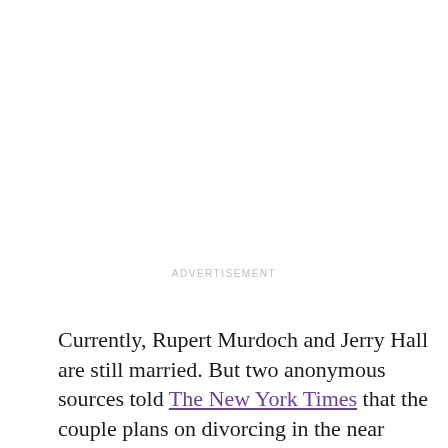ADVERTISEMENT
Currently, Rupert Murdoch and Jerry Hall are still married. But two anonymous sources told The New York Times that the couple plans on divorcing in the near future. This would mark Murdoch's fourth divorce if he and Hall call it